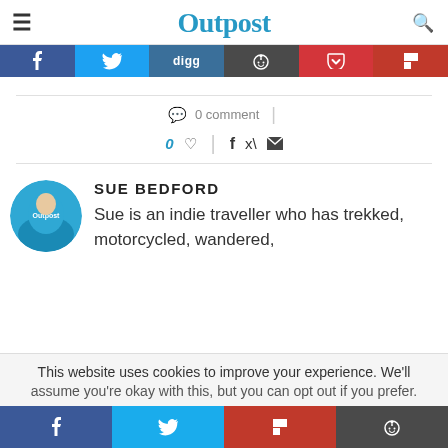Outpost
[Figure (infographic): Social share button bar with icons: Facebook (dark blue), Twitter (light blue), Digg (medium blue), Reddit (dark grey), Pocket (red), Flipboard (dark red)]
0 comment
0 ♡ | f 🐦 ✉
[Figure (photo): Circular avatar photo of person wearing a blue Outpost branded jacket/hoodie]
SUE BEDFORD
Sue is an indie traveller who has trekked, motorcycled, wandered,
This website uses cookies to improve your experience. We'll assume you're okay with this, but you can opt out if you prefer.
[Figure (infographic): Bottom share button bar with icons: Facebook (dark blue), Twitter (light blue), Flipboard (red), Reddit (dark grey)]